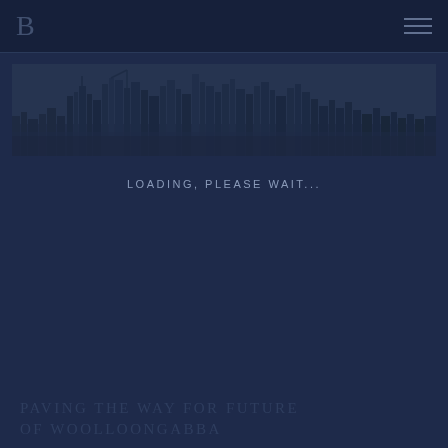B
[Figure (photo): City skyline silhouette in dark blue tones, showing buildings and towers against a dusky sky]
LOADING, PLEASE WAIT...
PAVING THE WAY FOR FUTURE OF WOOLLOONGABBA